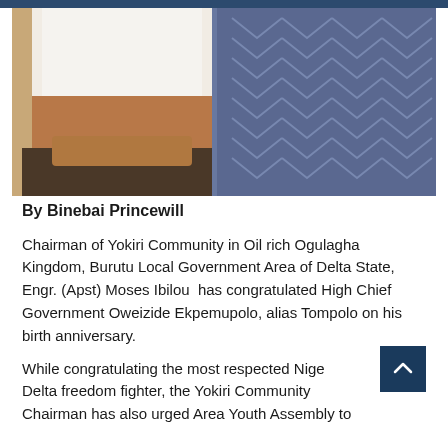[Figure (photo): Two people photographed together — one wearing a white shirt on the left side, one wearing a dark navy patterned agbada or boubou with chevron/arrow embroidery on the right side. The image is cropped showing torsos and hands, with a red bracelet visible.]
By Binebai Princewill
Chairman of Yokiri Community in Oil rich Ogulagha Kingdom, Burutu Local Government Area of Delta State, Engr. (Apst) Moses Ibilou  has congratulated High Chief Government Oweizide Ekpemupolo, alias Tompolo on his birth anniversary.
While congratulating the most respected Niger Delta freedom fighter, the Yokiri Community Chairman has also urged Area Youth Assembly to